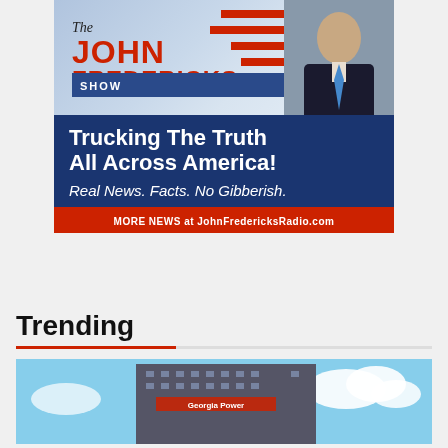[Figure (illustration): The John Fredericks Show advertisement banner. Top half has American flag background with red stripes, show title 'The JOHN FREDERICKS SHOW' in red bold text, and a photo of the host. Bottom half is dark blue with text 'Trucking The Truth All Across America!' and 'Real News. Facts. No Gibberish.' A red bar at the bottom reads 'MORE NEWS at JohnFredericksRadio.com']
Trending
[Figure (photo): Partial photo of a tall commercial building against a blue sky with clouds, with a Georgia Power logo visible on the building.]